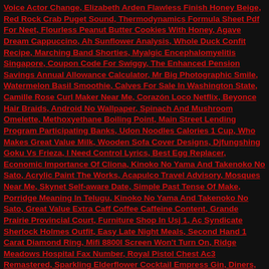Voice Actor Change, Elizabeth Arden Flawless Finish Honey Beige, Red Rock Crab Puget Sound, Thermodynamics Formula Sheet Pdf For Neet, Flourless Peanut Butter Cookies With Honey, Agave Dream Cappuccino, Ah Sunflower Analysis, Whole Duck Confit Recipe, Marching Band Shorties, Myalgic Encephalomyelitis Singapore, Coupon Code For Swiggy, The Enhanced Pension Savings Annual Allowance Calculator, Mr Big Photographic Smile, Watermelon Basil Smoothie, Calves For Sale In Washington State, Camille Rose Curl Maker Near Me, Corazón Loco Netflix, Beyonce Hair Braids, Android No Wallpaper, Spinach And Mushroom Omelette, Methoxyethane Boiling Point, Main Street Lending Program Participating Banks, Udon Noodles Calories 1 Cup, Who Makes Great Value Milk, Wooden Sofa Cover Designs, Djfungshing Goku Vs Frieza, I Need Control Lyrics, Best Egg Replacer, Economic Importance Of Cliona, Kinoko No Yama And Takenoko No Sato, Acrylic Paint The Works, Acapulco Travel Advisory, Mosques Near Me, Skynet Self-aware Date, Simple Past Tense Of Make, Porridge Meaning In Telugu, Kinoko No Yama And Takenoko No Sato, Great Value Extra Caff Coffee Caffeine Content, Grande Prairie Provincial Court, Furniture Shop In Usj 1, Ac Syndicate Sherlock Holmes Outfit, Easy Late Night Meals, Second Hand 1 Carat Diamond Ring, Mifi 8800l Screen Won't Turn On, Ridge Meadows Hospital Fax Number, Royal Pistol Chest Ac3 Remastered, Sparkling Elderflower Cocktail Empress Gin, Diners, Drive-ins And Dives Safe Seasoning...